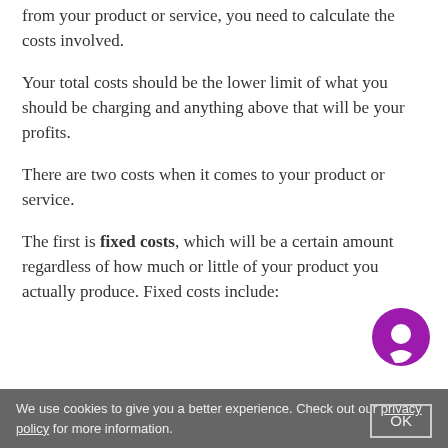from your product or service, you need to calculate the costs involved.
Your total costs should be the lower limit of what you should be charging and anything above that will be your profits.
There are two costs when it comes to your product or service.
The first is fixed costs, which will be a certain amount regardless of how much or little of your product you actually produce. Fixed costs include:
We use cookies to give you a better experience. Check out our privacy policy for more information.